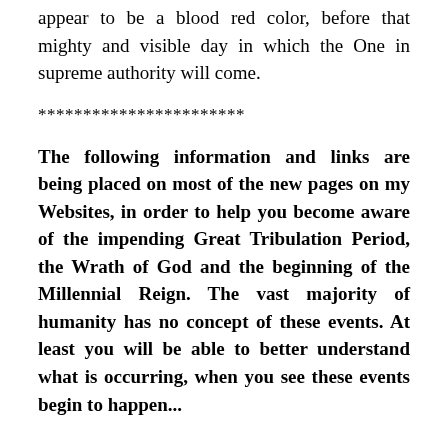appear to be a blood red color, before that mighty and visible day in which the One in supreme authority will come.
***********************
The following information and links are being placed on most of the new pages on my Websites, in order to help you become aware of the impending Great Tribulation Period, the Wrath of God and the beginning of the Millennial Reign. The vast majority of humanity has no concept of these events. At least you will be able to better understand what is occurring, when you see these events begin to happen...